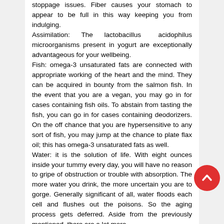stoppage issues. Fiber causes your stomach to appear to be full in this way keeping you from indulging.
Assimilation: The lactobacillus acidophilus microorganisms present in yogurt are exceptionally advantageous for your wellbeing.
Fish: omega-3 unsaturated fats are connected with appropriate working of the heart and the mind. They can be acquired in bounty from the salmon fish. In the event that you are a vegan, you may go in for cases containing fish oils. To abstain from tasting the fish, you can go in for cases containing deodorizers. On the off chance that you are hypersensitive to any sort of fish, you may jump at the chance to plate flax oil; this has omega-3 unsaturated fats as well.
Water: it is the solution of life. With eight ounces inside your tummy every day, you will have no reason to gripe of obstruction or trouble with absorption. The more water you drink, the more uncertain you are to gorge. Generally significant of all, water floods each cell and flushes out the poisons. So the aging process gets deferred. Aside from the previously mentioned, there are a lot more